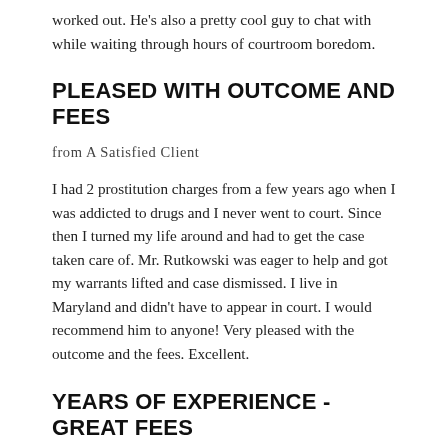worked out. He's also a pretty cool guy to chat with while waiting through hours of courtroom boredom.
PLEASED WITH OUTCOME AND FEES
from A Satisfied Client
I had 2 prostitution charges from a few years ago when I was addicted to drugs and I never went to court. Since then I turned my life around and had to get the case taken care of. Mr. Rutkowski was eager to help and got my warrants lifted and case dismissed. I live in Maryland and didn't have to appear in court. I would recommend him to anyone! Very pleased with the outcome and the fees. Excellent.
YEARS OF EXPERIENCE - GREAT FEES